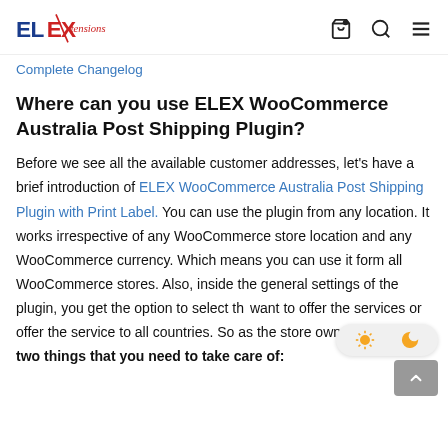ELExtensions
Complete Changelog
Where can you use ELEX WooCommerce Australia Post Shipping Plugin?
Before we see all the available customer addresses, let's have a brief introduction of ELEX WooCommerce Australia Post Shipping Plugin with Print Label. You can use the plugin from any location. It works irrespective of any WooCommerce store location and any WooCommerce currency. Which means you can use it form all WooCommerce stores. Also, inside the general settings of the plugin, you get the option to select the want to offer the services or offer the service to all countries. So as the store owners, there are two things that you need to take care of: